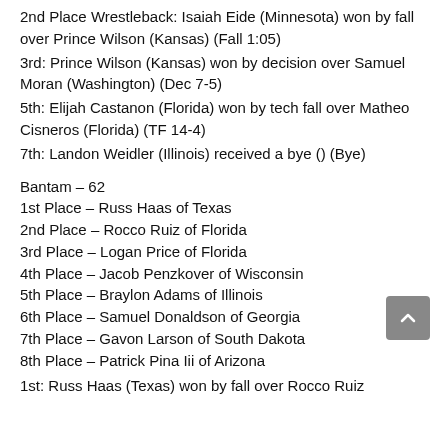2nd Place Wrestleback: Isaiah Eide (Minnesota) won by fall over Prince Wilson (Kansas) (Fall 1:05)
3rd: Prince Wilson (Kansas) won by decision over Samuel Moran (Washington) (Dec 7-5)
5th: Elijah Castanon (Florida) won by tech fall over Matheo Cisneros (Florida) (TF 14-4)
7th: Landon Weidler (Illinois) received a bye () (Bye)
Bantam – 62
1st Place – Russ Haas of Texas
2nd Place – Rocco Ruiz of Florida
3rd Place – Logan Price of Florida
4th Place – Jacob Penzkover of Wisconsin
5th Place – Braylon Adams of Illinois
6th Place – Samuel Donaldson of Georgia
7th Place – Gavon Larson of South Dakota
8th Place – Patrick Pina Iii of Arizona
1st: Russ Haas (Texas) won by fall over Rocco Ruiz